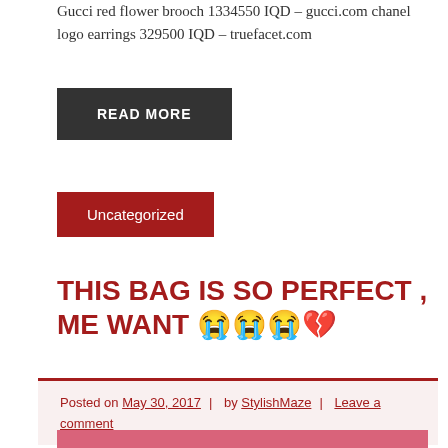Gucci red flower brooch 1334550 IQD – gucci.com chanel logo earrings 329500 IQD – truefacet.com
READ MORE
Uncategorized
THIS BAG IS SO PERFECT , ME WANT 😭😭😭💔
Posted on May 30, 2017 | by StylishMaze | Leave a comment
[Figure (photo): Pink Gucci quilted velvet crossbody bag with gold chain strap and GG logo hardware]